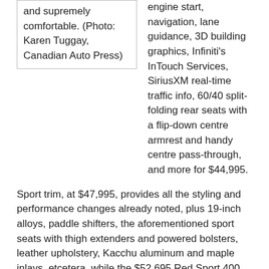and supremely comfortable. (Photo: Karen Tuggay, Canadian Auto Press)
engine start, navigation, lane guidance, 3D building graphics, Infiniti's InTouch Services, SiriusXM real-time traffic info, 60/40 split-folding rear seats with a flip-down centre armrest and handy centre pass-through, and more for $44,995.
Sport trim, at $47,995, provides all the styling and performance changes already noted, plus 19-inch alloys, paddle shifters, the aforementioned sport seats with thigh extenders and powered bolsters, leather upholstery, Kacchu aluminum and maple inlays, etcetera, while the $52,695 Red Sport 400 adds its unique styling and performance upgrades as well as a powered
[Figure (photo): 2018 Infiniti Q50 Red Sport 400]